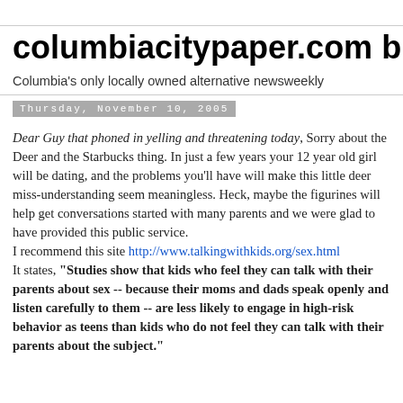columbiacitypaper.com blog
Columbia's only locally owned alternative newsweekly
Thursday, November 10, 2005
Dear Guy that phoned in yelling and threatening today, Sorry about the Deer and the Starbucks thing. In just a few years your 12 year old girl will be dating, and the problems you'll have will make this little deer miss-understanding seem meaningless. Heck, maybe the figurines will help get conversations started with many parents and we were glad to have provided this public service.
I recommend this site http://www.talkingwithkids.org/sex.html
It states, "Studies show that kids who feel they can talk with their parents about sex -- because their moms and dads speak openly and listen carefully to them -- are less likely to engage in high-risk behavior as teens than kids who do not feel they can talk with their parents about the subject."